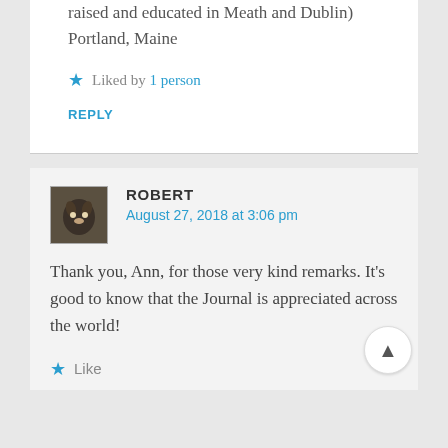raised and educated in Meath and Dublin)
Portland, Maine
★ Liked by 1 person
REPLY
ROBERT
August 27, 2018 at 3:06 pm
Thank you, Ann, for those very kind remarks. It's good to know that the Journal is appreciated across the world!
★ Like